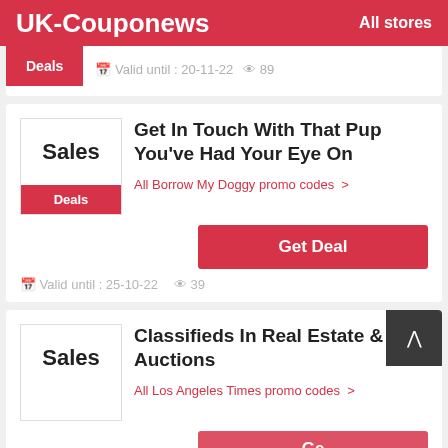UK-Couponews   All stores
Deals  Valid until : 20-11-22  89
Get In Touch With That Pup You've Had Your Eye On
All Borrow My Doggy promo codes >
Deals  Get Deal
Valid until : 25-10-22  39
Classifieds In Real Estate & Auctions
All Los Angeles Times promo codes >